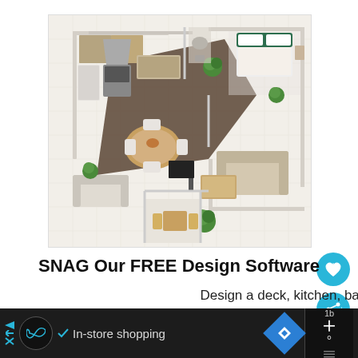[Figure (illustration): 3D isometric floor plan rendering showing a modern open-plan home with kitchen, dining area with round table, living room with sofas and TV, bedroom with green headboard, bathroom, and outdoor terrace with folding chairs. Rendered in light beige/white tones with dark wood flooring in the kitchen area and green potted plants.]
SNAG Our FREE Design Software
Design a deck, kitchen, bathroom, home office or
[Figure (infographic): Advertisement bar at the bottom: dark background with ad arrow icon, a circular logo with infinity-like symbol, a checkmark followed by 'In-store shopping' text, a blue navigation diamond icon, and a dark right panel with an X and temperature/weather icons.]